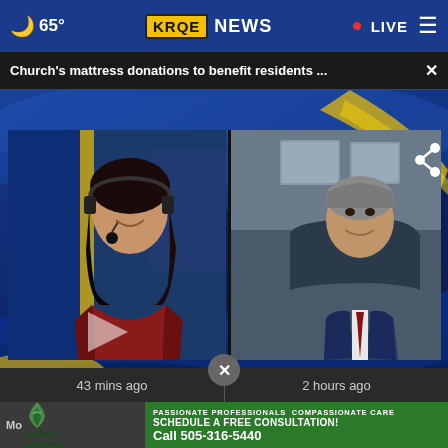🌙 65° KRQE NEWS • LIVE
Church's mattress donations to benefit residents ... ×
[Figure (screenshot): KRQE News video thumbnail showing two split-screen participants: a female news anchor in a red jacket with headset microphone on the left, and an older man in a blue suit with red tie seated at a desk on the right. KRQE logo background visible. Play button overlay on left side.]
43 mins ago
2 hours ago
[Figure (infographic): Advertisement for 'A Place At Home' senior care service. Green and white logo with tree icon. Text reads: 'PASSIONATE PROFESSIONALS COMPASSIONATE CARE SCHEDULE A FREE CONSULTATION! Call 505-316-5440']